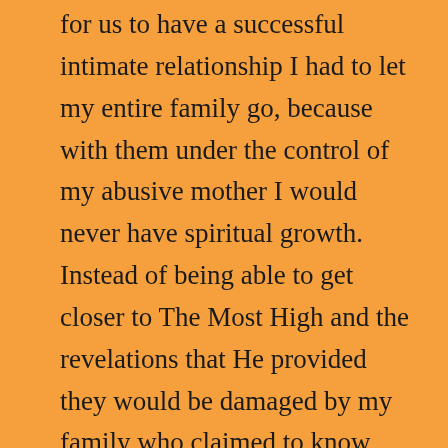for us to have a successful intimate relationship I had to let my entire family go, because with them under the control of my abusive mother I would never have spiritual growth. Instead of being able to get closer to The Most High and the revelations that He provided they would be damaged by my family who claimed to know The Most High ,and worship Him but in actuality they were worshipping my narcissistic mother. My mother never loved Yahweh she didn't even know Him or care to have a relationship with Him, she just always cherry picked that scripture about "Honor thy Mother and